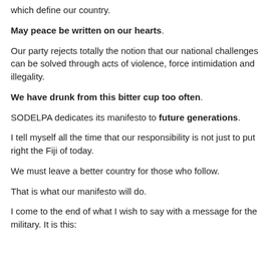which define our country.
May peace be written on our hearts.
Our party rejects totally the notion that our national challenges can be solved through acts of violence, force intimidation and illegality.
We have drunk from this bitter cup too often.
SODELPA dedicates its manifesto to future generations.
I tell myself all the time that our responsibility is not just to put right the Fiji of today.
We must leave a better country for those who follow.
That is what our manifesto will do.
I come to the end of what I wish to say with a message for the military. It is this: